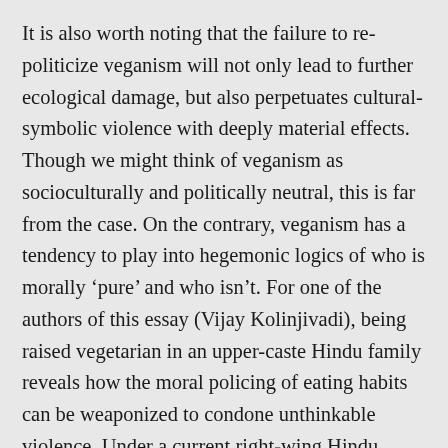It is also worth noting that the failure to re-politicize veganism will not only lead to further ecological damage, but also perpetuates cultural-symbolic violence with deeply material effects. Though we might think of veganism as socioculturally and politically neutral, this is far from the case. On the contrary, veganism has a tendency to play into hegemonic logics of who is morally ‘pure’ and who isn’t. For one of the authors of this essay (Vijay Kolinjivadi), being raised vegetarian in an upper-caste Hindu family reveals how the moral policing of eating habits can be weaponized to condone unthinkable violence. Under a current right-wing Hindu fundamentalist government in India, street lynchings and brutal killings are being ‘justified’ by narratives of India as a nation only for ‘cow-loving’ Hindus. Vijay’s lived experience shows that the